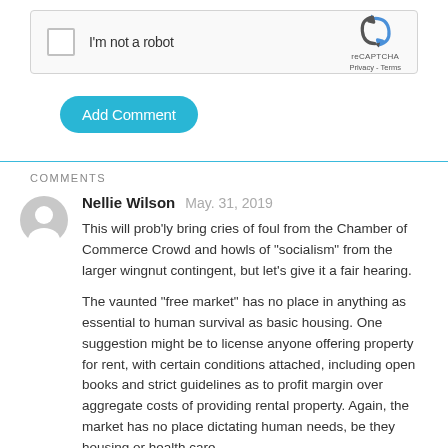[Figure (other): reCAPTCHA widget with checkbox labeled I'm not a robot and reCAPTCHA logo with Privacy and Terms links]
Add Comment
COMMENTS
Nellie Wilson  May. 31, 2019
This will prob'ly bring cries of foul from the Chamber of Commerce Crowd and howls of "socialism" from the larger wingnut contingent, but let's give it a fair hearing.
The vaunted "free market" has no place in anything as essential to human survival as basic housing. One suggestion might be to license anyone offering property for rent, with certain conditions attached, including open books and strict guidelines as to profit margin over aggregate costs of providing rental property. Again, the market has no place dictating human needs, be they housing or health care.